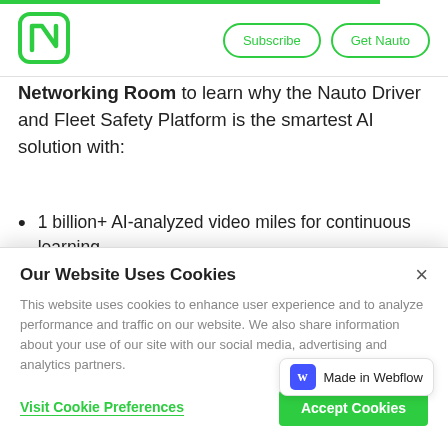[Figure (logo): Nauto logo - green N lettermark]
Networking Room to learn why the Nauto Driver and Fleet Safety Platform is the smartest AI solution with:
1 billion+ AI-analyzed video miles for continuous learning
The highest rate of precision, clarity, and real-time response
Our Website Uses Cookies
This website uses cookies to enhance user experience and to analyze performance and traffic on our website. We also share information about your use of our site with our social media, advertising and analytics partners.
Visit Cookie Preferences
Accept Cookies